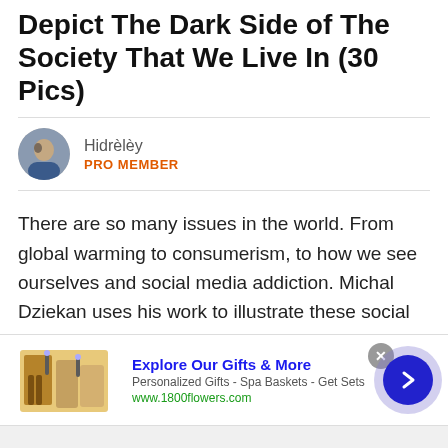Depict The Dark Side of The Society That We Live In (30 Pics)
Hidrèlèy
PRO MEMBER
There are so many issues in the world. From global warming to consumerism, to how we see ourselves and social media addiction. Michal Dziekan uses his work to illustrate these social issues and perhaps make you rethink your choices and lifestyle.
[Figure (infographic): Advertisement banner for 1800flowers.com showing gift products, text 'Explore Our Gifts & More', 'Personalized Gifts - Spa Baskets - Get Sets', 'www.1800flowers.com', with a navigation arrow button.]